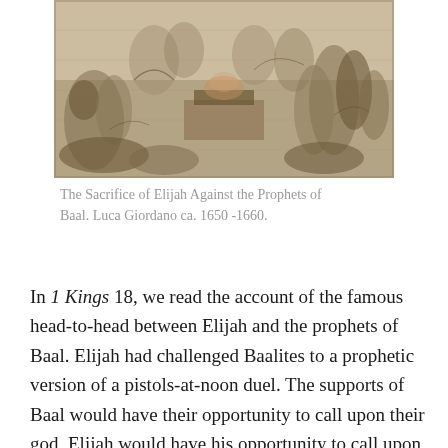[Figure (illustration): A sepia-toned engraving depicting a dramatic crowd scene with figures in classical dress, representing the Sacrifice of Elijah Against the Prophets of Baal by Luca Giordano ca. 1650-1660.]
The Sacrifice of Elijah Against the Prophets of Baal. Luca Giordano ca. 1650 -1660.
In 1 Kings 18, we read the account of the famous head-to-head between Elijah and the prophets of Baal. Elijah had challenged Baalites to a prophetic version of a pistols-at-noon duel. The supports of Baal would have their opportunity to call upon their god, Elijah would have his opportunity to call upon his. Addressing the people of Israel, Elijah set the terms of the challenge by saying, “I alone am left a prophet of the LORD; but Baal’s prophets are for hundred and fifty men. Therefore let